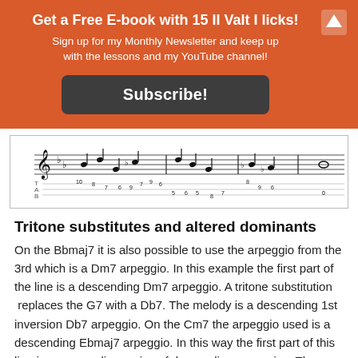Get a Free E-book with 15 II Valt I licks!
Sign up for my Monthly Newsletter and keep up with the lessons and my YouTube channel!
Subscribe!
[Figure (other): Sheet music and guitar tablature notation showing a jazz line with notes and fret numbers]
Tritone substitutes and altered dominants
On the Bbmaj7 it is also possible to use the arpeggio from the 3rd which is a Dm7 arpeggio. In this example the first part of the line is a descending Dm7 arpeggio. A tritone substitution  replaces the G7 with a Db7. The melody is a descending 1st inversion Db7 arpeggio. On the Cm7 the arpeggio used is a descending Ebmaj7 arpeggio. In this way the first part of this line is an ascending series of descending arpeggios. The E7alt line is a scale run in the E altered scale